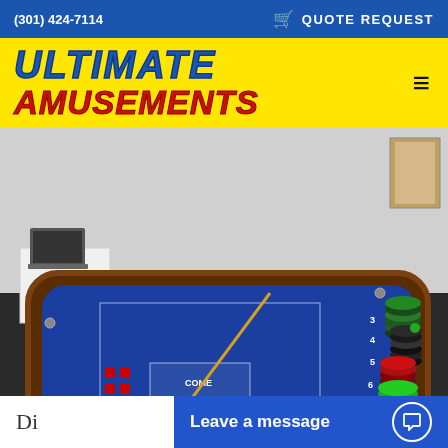(301) 424-7114  QUOTE REQUEST
[Figure (logo): Ultimate Amusements logo with yellow background, blue italic 'ULTIMATE' text and red italic 'AMUSEMENTS' text, hamburger menu icon on right]
[Figure (photo): A blue craps casino table with casino chips stacked on the right side, a cue stick, and a laptop on a white stand in the background. The table shows the craps layout with PASS LINE text visible. Room has light gray walls.]
Di
Leave a message